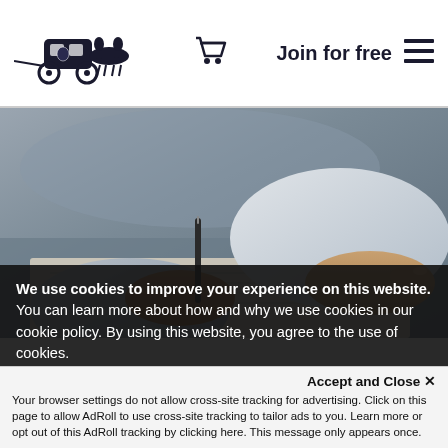[Figure (logo): Horse-drawn carriage logo (black illustrated carriage with horses)]
[Figure (illustration): Shopping cart icon (black)]
Join for free
[Figure (illustration): Hamburger menu icon (three horizontal lines)]
[Figure (photo): Close-up photo of two people signing or reviewing documents at a table; one hand holds a pen, another person points at the document]
We use cookies to improve your experience on this website. You can learn more about how and why we use cookies in our cookie policy. By using this website, you agree to the use of cookies.
Accept and Close ✕
Your browser settings do not allow cross-site tracking for advertising. Click on this page to allow AdRoll to use cross-site tracking to tailor ads to you. Learn more or opt out of this AdRoll tracking by clicking here. This message only appears once.